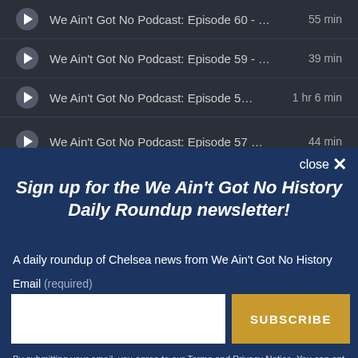We Ain't Got No Podcast: Episode 60 - … 55 min
We Ain't Got No Podcast: Episode 59 - … 39 min
We Ain't Got No Podcast: Episode 5… 1 hr 6 min
We Ain't Got No Podcast: Episode 57 … 44 min
close ✕
Sign up for the We Ain't Got No History Daily Roundup newsletter!
A daily roundup of Chelsea news from We Ain't Got No History
Email (required)
SUBSCRIBE
By submitting your email, you agree to our Terms and Privacy Notice. You can opt out at any time. This site is protected by reCAPTCHA and the Google Privacy Policy and Terms of Service apply.